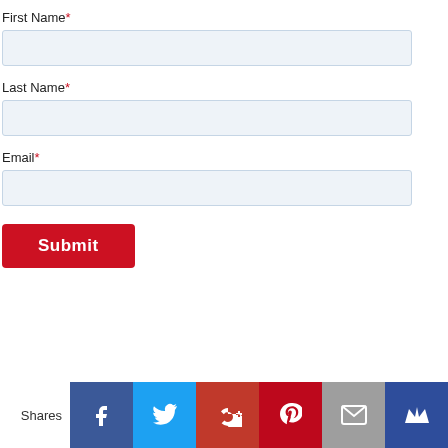First Name*
Last Name*
Email*
Submit
Shares